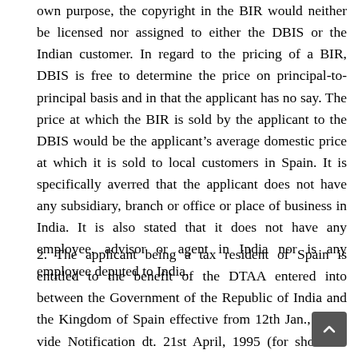own purpose, the copyright in the BIR would neither be licensed nor assigned to either the DBIS or the Indian customer. In regard to the pricing of a BIR, DBIS is free to determine the price on principal-to-principal basis and in that the applicant has no say. The price at which the BIR is sold by the applicant to the DBIS would be the applicant’s average domestic price at which it is sold to local customers in Spain. It is specifically averred that the applicant does not have any subsidiary, branch or office or place of business in India. It is also stated that it does not have any employee, advisor or agent in India nor is any employee deputed to India.
2. The applicant being a tax resident of Spain is entitled to the benefit of the DTAA entered into between the Government of the Republic of India and the Kingdom of Spain effective from 12th Jan., 1995, vide Notification dt. 21st April, 1995 (for short the “Treaty”). As per s. 90(2) of the Act, the provisions of the Act would apply to the extent they are more beneficial to t